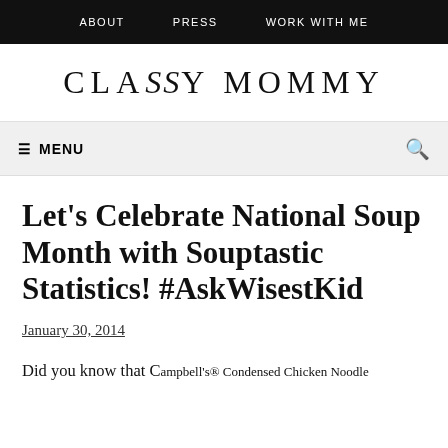ABOUT   PRESS   WORK WITH ME
CLASSY MOMMY
≡ MENU
Let's Celebrate National Soup Month with Souptastic Statistics! #AskWisestKid
January 30, 2014
Did you know that Campbell's® Condensed Chicken Noodle